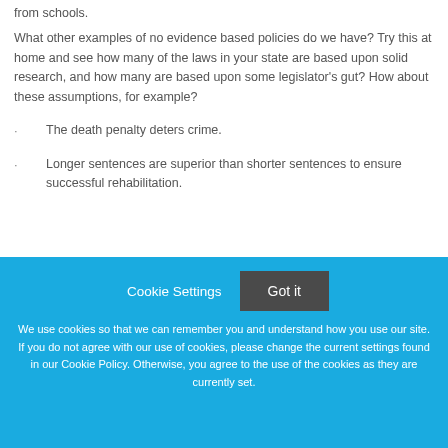from schools.
What other examples of no evidence based policies do we have?  Try this at home and see how many of the laws in your state are based upon solid research, and how many are based upon some legislator's gut?  How about these assumptions, for example?
The death penalty deters crime.
Longer sentences are superior than shorter sentences to ensure successful rehabilitation.
Cookie Settings  Got it
We use cookies so that we can remember you and understand how you use our site. If you do not agree with our use of cookies, please change the current settings found in our Cookie Policy. Otherwise, you agree to the use of the cookies as they are currently set.